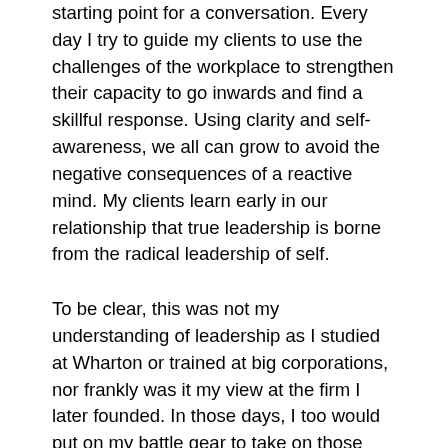starting point for a conversation. Every day I try to guide my clients to use the challenges of the workplace to strengthen their capacity to go inwards and find a skillful response. Using clarity and self-awareness, we all can grow to avoid the negative consequences of a reactive mind. My clients learn early in our relationship that true leadership is borne from the radical leadership of self.
To be clear, this was not my understanding of leadership as I studied at Wharton or trained at big corporations, nor frankly was it my view at the firm I later founded. In those days, I too would put on my battle gear to take on those who stood between me and my desired outcome. Although my search for a more contemplative way of learning was already in high gear, it would be some time before I truly understood that leadership is really an inside job.
I sat at my first meditation class just a few years after I sat at my last MBA class, feeling like I was embarking on a completely different path...